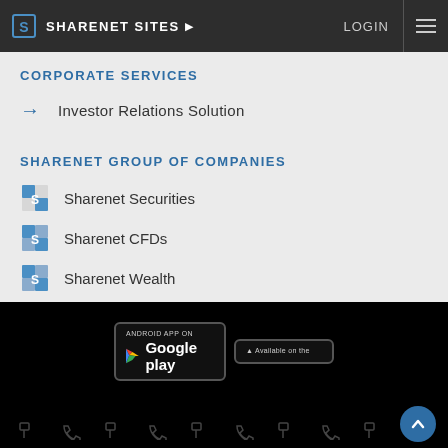SHARENET SITES ▶  LOGIN
CORPORATE SERVICES
Investor Relations Solution
SHARENET GROUP OF COMPANIES
Sharenet Securities
Sharenet CFDs
Sharenet Wealth
[Figure (screenshot): Android App on Google Play badge]
[Figure (screenshot): Available on the App Store badge (partially visible)]
Social media icon row and scroll-to-top button